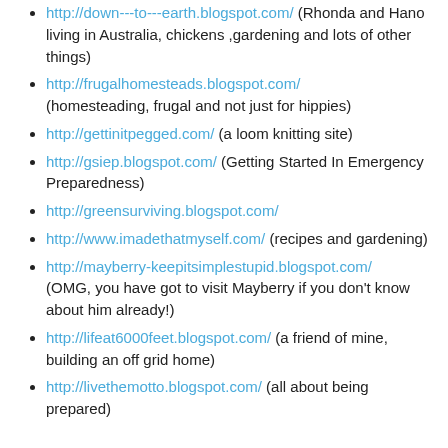http://down---to---earth.blogspot.com/ (Rhonda and Hano living in Australia, chickens ,gardening and lots of other things)
http://frugalhomesteads.blogspot.com/ (homesteading, frugal and not just for hippies)
http://gettinitpegged.com/ (a loom knitting site)
http://gsiep.blogspot.com/ (Getting Started In Emergency Preparedness)
http://greensurviving.blogspot.com/
http://www.imadethatmyself.com/ (recipes and gardening)
http://mayberry-keepitsimplestupid.blogspot.com/ (OMG, you have got to visit Mayberry if you don't know about him already!)
http://lifeat6000feet.blogspot.com/ (a friend of mine, building an off grid home)
http://livethemotto.blogspot.com/ (all about being prepared)